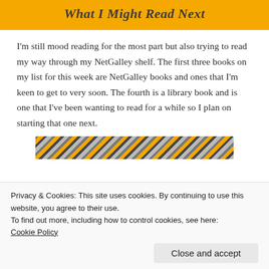What I Might Read Next
I'm still mood reading for the most part but also trying to read my way through my NetGalley shelf. The first three books on my list for this week are NetGalley books and ones that I'm keen to get to very soon. The fourth is a library book and is one that I've been wanting to read for a while so I plan on starting that one next.
[Figure (photo): Partial book cover image with yellow and grey/black patterned background, cropped at top]
Privacy & Cookies: This site uses cookies. By continuing to use this website, you agree to their use.
To find out more, including how to control cookies, see here: Cookie Policy
Close and accept
[Figure (photo): Partial book cover image with yellow and grey/black patterned background, cropped at bottom]